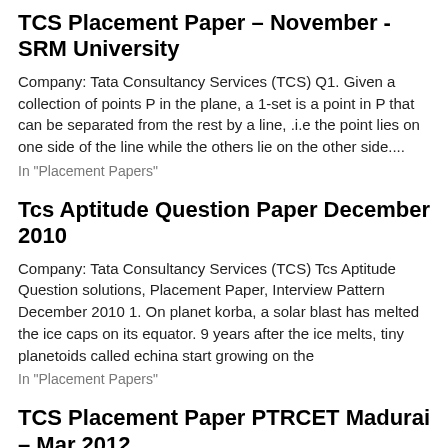TCS Placement Paper – November - SRM University
Company: Tata Consultancy Services (TCS) Q1. Given a collection of points P in the plane, a 1-set is a point in P that can be separated from the rest by a line, .i.e the point lies on one side of the line while the others lie on the other side....
In "Placement Papers"
Tcs Aptitude Question Paper December 2010
Company: Tata Consultancy Services (TCS) Tcs Aptitude Question solutions, Placement Paper, Interview Pattern December 2010 1. On planet korba, a solar blast has melted the ice caps on its equator. 9 years after the ice melts, tiny planetoids called echina start growing on the
In "Placement Papers"
TCS Placement Paper PTRCET Madurai – Mar 2012
Company: Tata Consultancy Services (TCS) 1. How many